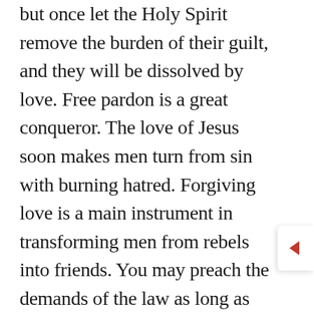but once let the Holy Spirit remove the burden of their guilt, and they will be dissolved by love. Free pardon is a great conqueror. The love of Jesus soon makes men turn from sin with burning hatred. Forgiving love is a main instrument in transforming men from rebels into friends. You may preach the demands of the law as long as you like, and tell men that they must merit salvation, and you will only make them worse and worse. But go and proclaim the dying love of Jesus; tell them that free grace reigns, and that undeserved mercy saves the sinner through faith in